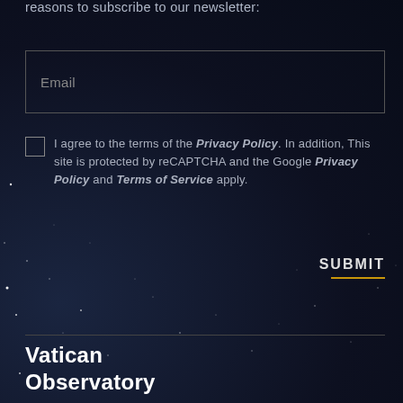reasons to subscribe to our newsletter:
Email
I agree to the terms of the Privacy Policy. In addition, This site is protected by reCAPTCHA and the Google Privacy Policy and Terms of Service apply.
SUBMIT
Vatican Observatory